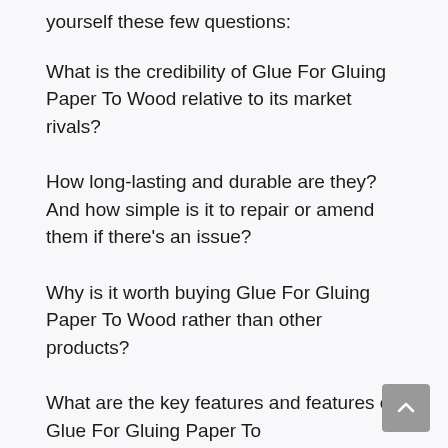yourself these few questions:
What is the credibility of Glue For Gluing Paper To Wood relative to its market rivals?
How long-lasting and durable are they? And how simple is it to repair or amend them if there’s an issue?
Why is it worth buying Glue For Gluing Paper To Wood rather than other products?
What are the key features and features of Glue For Gluing Paper To